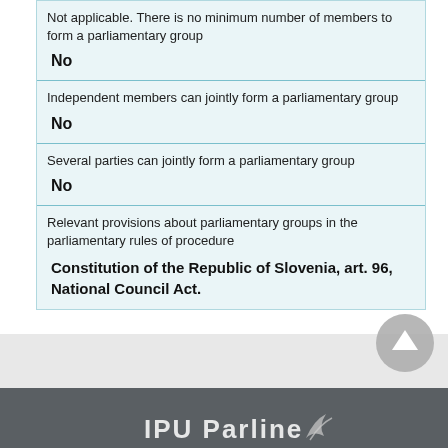Not applicable. There is no minimum number of members to form a parliamentary group
No
Independent members can jointly form a parliamentary group
No
Several parties can jointly form a parliamentary group
No
Relevant provisions about parliamentary groups in the parliamentary rules of procedure
Constitution of the Republic of Slovenia, art. 96, National Council Act.
IPU Parline